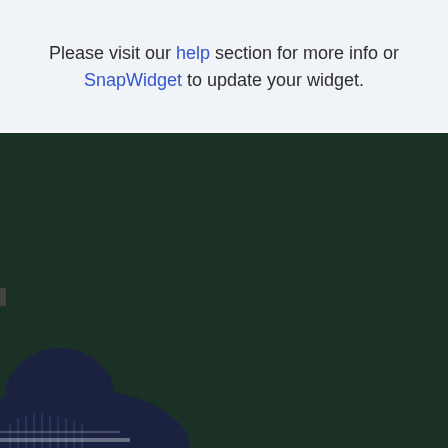Please visit our help section for more info or SnapWidget to update your widget.
[Figure (photo): Dark green background with a partial view of a person wearing a navy blue knit sweater in the lower-left corner. Small dark element visible at the left edge mid-section.]